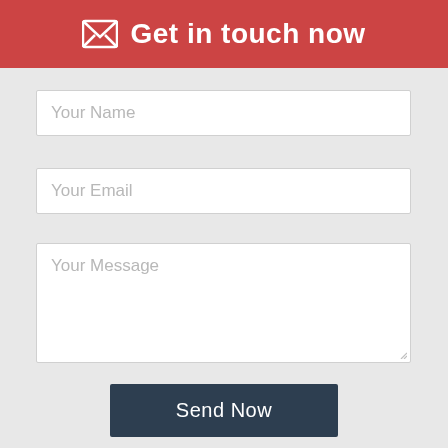Get in touch now
Your Name
Your Email
Your Message
Send Now